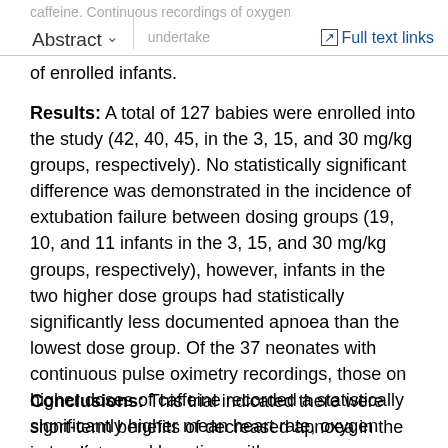Abstract | Full text links
of enrolled infants.
Results: A total of 127 babies were enrolled into the study (42, 40, 45, in the 3, 15, and 30 mg/kg groups, respectively). No statistically significant difference was demonstrated in the incidence of extubation failure between dosing groups (19, 10, and 11 infants in the 3, 15, and 30 mg/kg groups, respectively), however, infants in the two higher dose groups had statistically significantly less documented apnoea than the lowest dose group. Of the 37 neonates with continuous pulse oximetry recordings, those on higher doses of caffeine recorded a statistically significantly higher mean heart rate, oxygen saturations and less time with oxygen saturations <85%.
Conclusions: This trial indicated there were short-term benefits of decreased apnoea in the immediate